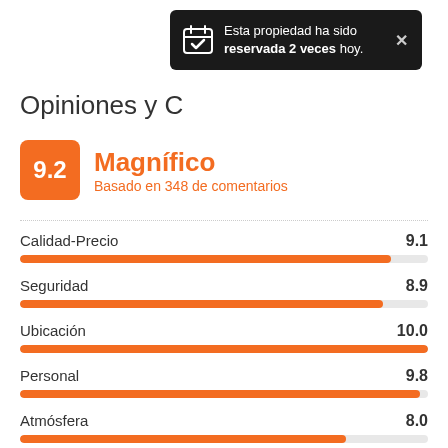[Figure (infographic): Dark tooltip popup saying 'Esta propiedad ha sido reservada 2 veces hoy.' with a calendar icon and close button]
Opiniones y C
9.2 Magnífico — Basado en 348 de comentarios
[Figure (bar-chart): Category ratings]